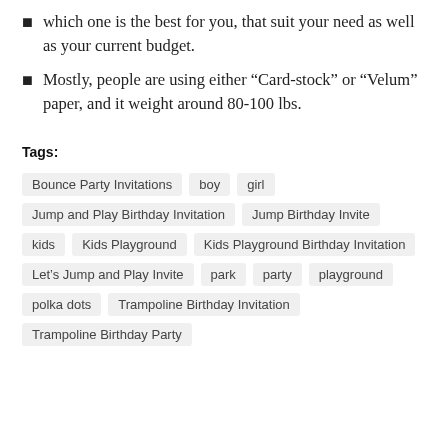which one is the best for you, that suit your need as well as your current budget.
Mostly, people are using either “Card-stock” or “Velum” paper, and it weight around 80-100 lbs.
Tags: Bounce Party Invitations, boy, girl, Jump and Play Birthday Invitation, Jump Birthday Invite, kids, Kids Playground, Kids Playground Birthday Invitation, Let’s Jump and Play Invite, park, party, playground, polka dots, Trampoline Birthday Invitation, Trampoline Birthday Party